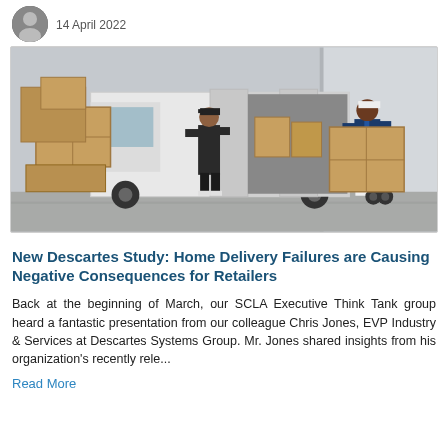14 April 2022
[Figure (photo): Two delivery workers unloading cardboard boxes from a white cargo van in a parking area. One person stands in the van's open back loading area handling boxes, while another uses a hand truck to move a large cardboard box.]
New Descartes Study: Home Delivery Failures are Causing Negative Consequences for Retailers
Back at the beginning of March, our SCLA Executive Think Tank group heard a fantastic presentation from our colleague Chris Jones, EVP Industry & Services at Descartes Systems Group. Mr. Jones shared insights from his organization's recently rele...
Read More